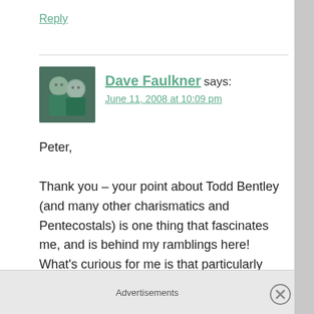Reply
Dave Faulkner says:
June 11, 2008 at 10:09 pm
Peter,

Thank you – your point about Todd Bentley (and many other charismatics and Pentecostals) is one thing that fascinates me, and is behind my ramblings here! What's curious for me is that particularly from the
Advertisements